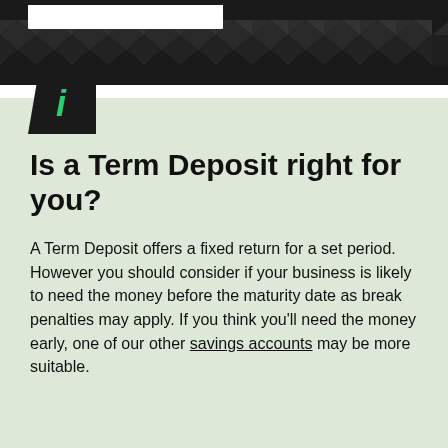[Figure (other): Dark banner with geometric diamond/arrow pattern in dark grey tones, with a white rectangular bar at the top left]
[Figure (logo): Black angular shape (like a folded corner or flag) with a green italic letter i, used as a brand logo icon]
Is a Term Deposit right for you?
A Term Deposit offers a fixed return for a set period. However you should consider if your business is likely to need the money before the maturity date as break penalties may apply. If you think you'll need the money early, one of our other savings accounts may be more suitable.